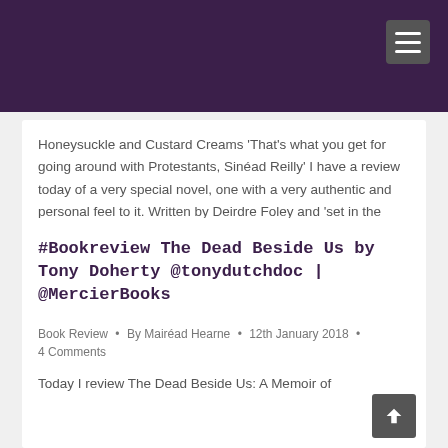Honeysuckle and Custard Creams ‘That’s what you get for going around with Protestants, Sinéad Reilly’ I have a review today of a very special novel, one with a very authentic and personal feel to it. Written by Deirdre Foley and ‘set in the early years of the Troubles, Honeysuckle and Custard Creams explores the enduring…
#Bookreview The Dead Beside Us by Tony Doherty @tonydutchdoc | @MercierBooks
Book Review • By Mairéad Hearne • 12th January 2018 • 4 Comments
Today I review The Dead Beside Us: A Memoir of